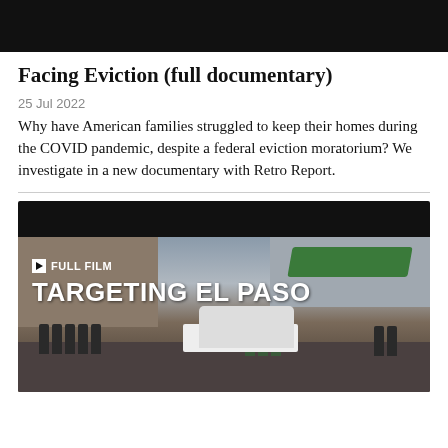[Figure (screenshot): Black video thumbnail bar at top]
Facing Eviction (full documentary)
25 Jul 2022
Why have American families struggled to keep their homes during the COVID pandemic, despite a federal eviction moratorium? We investigate in a new documentary with Retro Report.
[Figure (screenshot): Video thumbnail showing border patrol scene with text overlay 'FULL FILM' and 'TARGETING EL PASO']